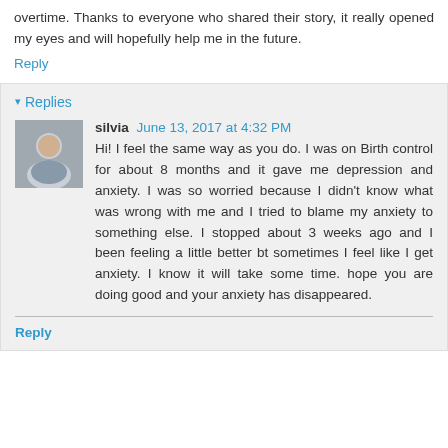overtime. Thanks to everyone who shared their story, it really opened my eyes and will hopefully help me in the future.
Reply
▾ Replies
silvia June 13, 2017 at 4:32 PM
Hi! I feel the same way as you do. I was on Birth control for about 8 months and it gave me depression and anxiety. I was so worried because I didn't know what was wrong with me and I tried to blame my anxiety to something else. I stopped about 3 weeks ago and I been feeling a little better bt sometimes I feel like I get anxiety. I know it will take some time. hope you are doing good and your anxiety has disappeared.
Reply